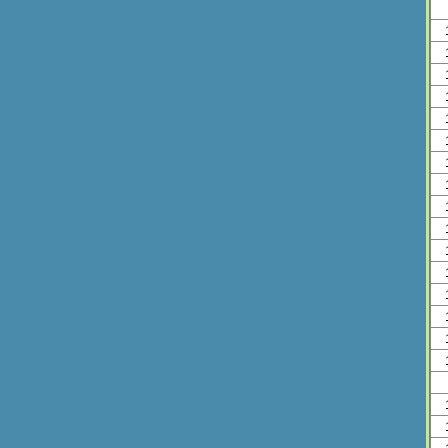|  |  |  |
| --- | --- | --- |
|  |  | Cyphon |
| 113923 | 113969 | Elodes |
| 113923 | 113925 | Prionocyphon |
| 113923 | 113929 | Scirtes |
| 113998 | 114278 | Chelonariidae |
| 114278 | 114279 | Chelonarium lecontei |
| 113998 | 113999 | Dryopidae (adult) |
| 113999 | 114025 | Dryops (adult) |
| 113999 | 114006 | Helichus (adult) |
| 114006 | 114011 | Helichus basalis (adult) |
| 114006 | 114013 | Helichus fastigiatus (adult) |
| 114006 | 114009 | Helichus lithophilus (adult) |
| 114006 | 114017 | Helichus striatus (adult) |
| 114017 | 114019 | Helichus striatus foveatus (adult) |
| 113999 | 114001 | Pelonomus (adult) |
| 114001 | 114004 | Pelonomus obscurus (adult) |
| 113998 | 114093 | Elmidae |
|  | 114196 | Ampumixis |
| 114196 | 114197 | Ampumixis dispar |
| 114093 | 114193 | Ancyronyx |
| 114193 | 114194 | Ancyronyx variegatus |
| 114093 | 114251 | Atractelmis |